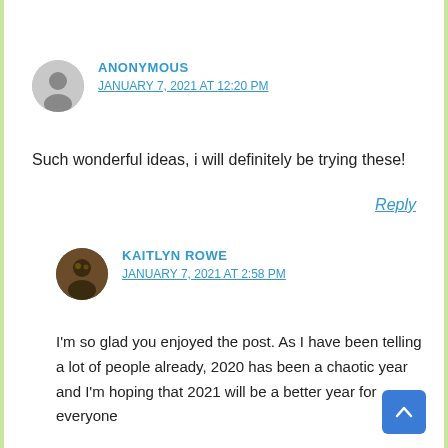ANONYMOUS
JANUARY 7, 2021 AT 12:20 PM
Such wonderful ideas, i will definitely be trying these!
Reply
KAITLYN ROWE
JANUARY 7, 2021 AT 2:58 PM
I'm so glad you enjoyed the post. As I have been telling a lot of people already, 2020 has been a chaotic year and I'm hoping that 2021 will be a better year for everyone